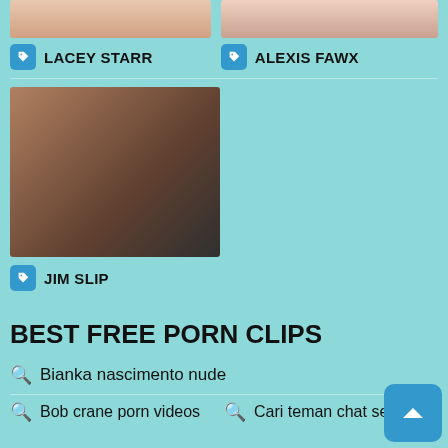[Figure (photo): Thumbnail image for LACEY STARR]
LACEY STARR
[Figure (photo): Thumbnail image for ALEXIS FAWX]
ALEXIS FAWX
[Figure (photo): Thumbnail image for JIM SLIP showing a woman on a couch]
JIM SLIP
BEST FREE PORN CLIPS
Bianka nascimento nude
Bob crane porn videos
Cari teman chat sex